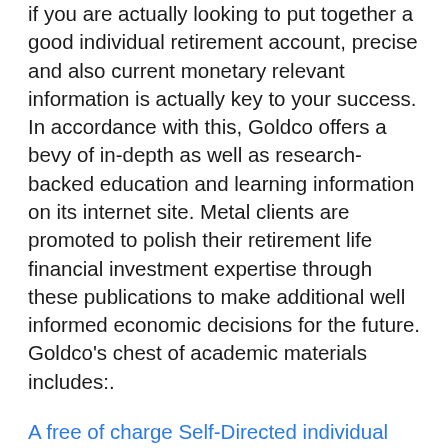if you are actually looking to put together a good individual retirement account, precise and also current monetary relevant information is actually key to your success. In accordance with this, Goldco offers a bevy of in-depth as well as research-backed education and learning information on its internet site. Metal clients are promoted to polish their retirement life financial investment expertise through these publications to make additional well informed economic decisions for the future. Goldco's chest of academic materials includes:.
A free of charge Self-Directed individual retirement account quick guide outlining the numerous components of precious metals